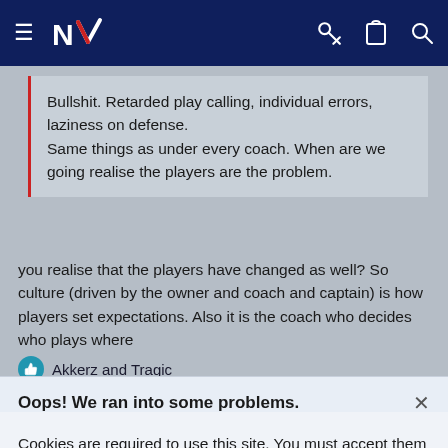NZ [navigation bar with logo, hamburger, key, clipboard, search icons]
Bullshit. Retarded play calling, individual errors, laziness on defense.
Same things as under every coach. When are we going realise the players are the problem.
you realise that the players have changed as well? So culture (driven by the owner and coach and captain) is how players set expectations. Also it is the coach who decides who plays where
Akkerz and Tragic
Oops! We ran into some problems.
Cookies are required to use this site. You must accept them to continue using the site.